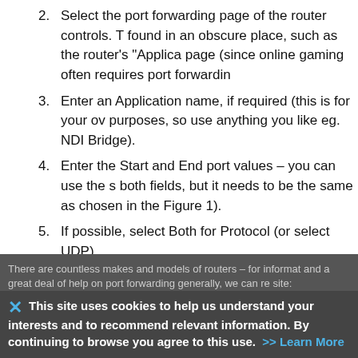Select the port forwarding page of the router controls. This may be found in an obscure place, such as the router's "Applications" page (since online gaming often requires port forwarding).
Enter an Application name, if required (this is for your own purposes, so use anything you like eg. NDI Bridge).
Enter the Start and End port values – you can use the same value in both fields, but it needs to be the same as chosen in the NDI app (see Figure 1).
If possible, select Both for Protocol (or select UDP).
There are countless makes and models of routers – for information and a great deal of help on port forwarding generally, we can recommend this site:
This site uses cookies to help us understand your interests and to recommend relevant information. By continuing to browse you agree to this use. >> Learn More